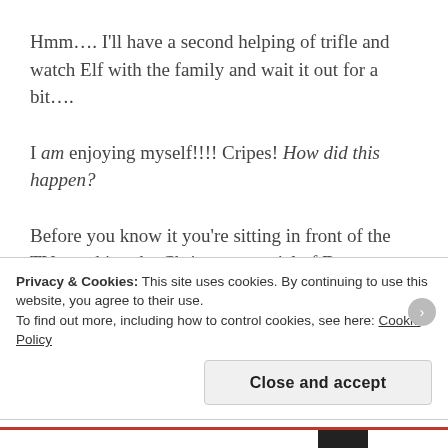Hmm…. I'll have a second helping of trifle and watch Elf with the family and wait it out for a bit….
I am enjoying myself!!!! Cripes! How did this happen?
Before you know it you're sitting in front of the TV watching the Christmas special of Downton laughing with your loved ones.
And that's it, it's all over, done and dusted. You
Privacy & Cookies: This site uses cookies. By continuing to use this website, you agree to their use.
To find out more, including how to control cookies, see here: Cookie Policy
Close and accept